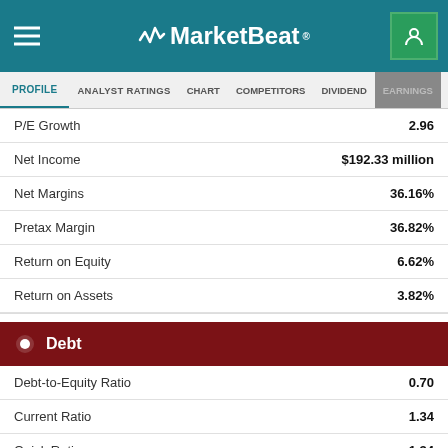MarketBeat
PROFILE | ANALYST RATINGS | CHART | COMPETITORS | DIVIDEND | EARNINGS
| Metric | Value |
| --- | --- |
| P/E Growth | 2.96 |
| Net Income | $192.33 million |
| Net Margins | 36.16% |
| Pretax Margin | 36.82% |
| Return on Equity | 6.62% |
| Return on Assets | 3.82% |
Debt
| Metric | Value |
| --- | --- |
| Debt-to-Equity Ratio | 0.70 |
| Current Ratio | 1.34 |
| Quick Ratio | 1.34 |
Sales & Book Value
| Metric | Value |
| --- | --- |
| Annual Sales | $562.16 million |